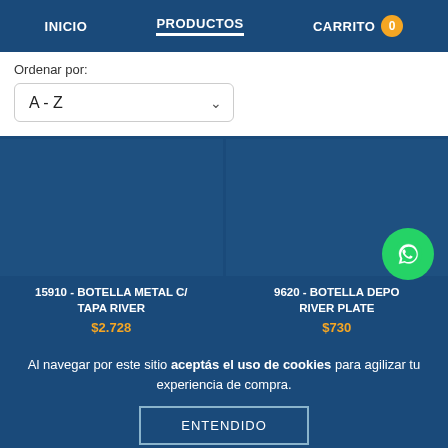INICIO   PRODUCTOS   CARRITO 0
Ordenar por:
A - Z
[Figure (screenshot): Product card: 15910 - BOTELLA METAL C/ TAPA RIVER, $2.728]
[Figure (screenshot): Product card: 9620 - BOTELLA DEPO RIVER PLATE, $730]
Al navegar por este sitio aceptás el uso de cookies para agilizar tu experiencia de compra.
ENTENDIDO